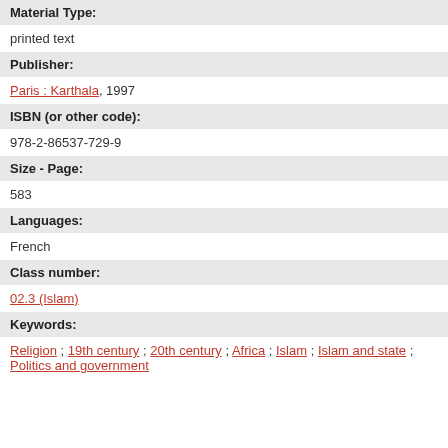Material Type:
printed text
Publisher:
Paris : Karthala, 1997
ISBN (or other code):
978-2-86537-729-9
Size - Page:
583
Languages:
French
Class number:
02.3 (Islam)
Keywords:
Religion ; 19th century ; 20th century ; Africa ; Islam ; Islam and state ; Politics and government